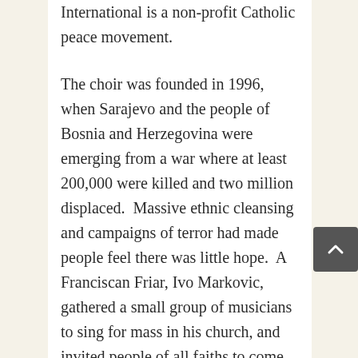International is a non-profit Catholic peace movement.
The choir was founded in 1996, when Sarajevo and the people of Bosnia and Herzegovina were emerging from a war where at least 200,000 were killed and two million displaced.  Massive ethnic cleansing and campaigns of terror had made people feel there was little hope.  A Franciscan Friar, Ivo Markovic, gathered a small group of musicians to sing for mass in his church, and invited people of all faiths to come and hear them.
Out of that initial meeting grew Pontanima